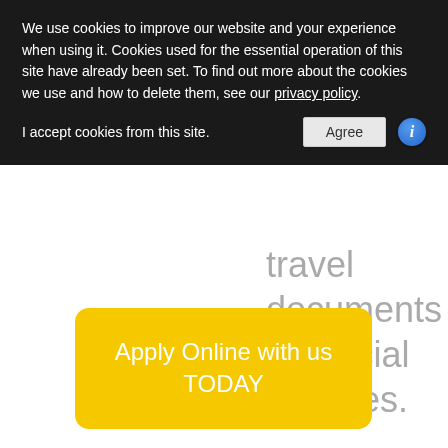We use cookies to improve our website and your experience when using it. Cookies used for the essential operation of this site have already been set. To find out more about the cookies we use and how to delete them, see our privacy policy.
I accept cookies from this site.
travel documents or official services.
Apply Online with us TODAY